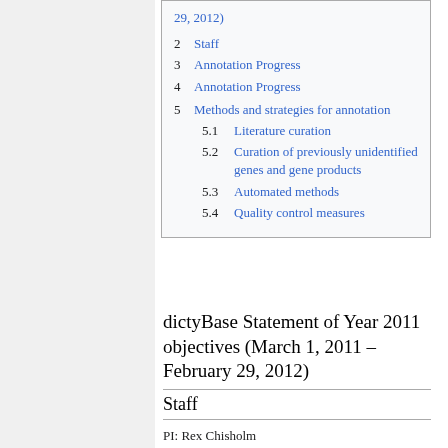29, 2012)
2 Staff
3 Annotation Progress
4 Annotation Progress
5 Methods and strategies for annotation
5.1 Literature curation
5.2 Curation of previously unidentified genes and gene products
5.3 Automated methods
5.4 Quality control measures
dictyBase Statement of Year 2011 objectives (March 1, 2011 – February 29, 2012)
Staff
PI: Rex Chisholm